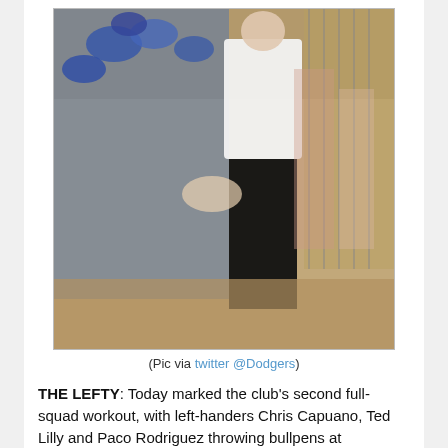[Figure (photo): Outdoor photo of an older man in a white shirt and black pants signing autographs for a group of young baseball players wearing blue LA Dodgers caps, at what appears to be a baseball facility. The scene is sunny and outdoors.]
(Pic via twitter @Dodgers)
THE LEFTY: Today marked the club's second full-squad workout, with left-handers Chris Capuano, Ted Lilly and Paco Rodriguez throwing bullpens at Camelback Ranch – Glendale. Another southpaw arrived to the Dodgers' facility today as Hall of Famer and Dodger legend Sandy Koufax worked with pitchers, signed autographs for fans and talked